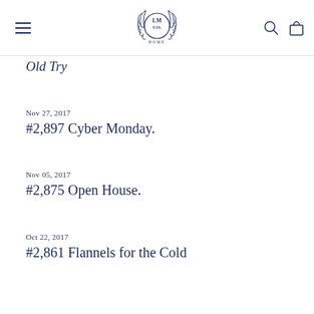LM CO. HOME
Old Try
Nov 27, 2017
#2,897 Cyber Monday.
Nov 05, 2017
#2,875 Open House.
Oct 22, 2017
#2,861 Flannels for the Cold